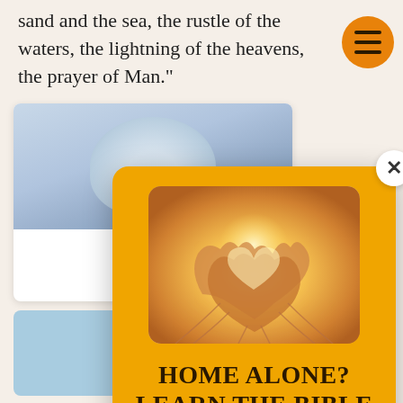sand and the sea, the rustle of the waters, the lightning of the heavens, the prayer of Man."
[Figure (illustration): Background article card with cloud/sky image]
[Figure (illustration): Small blue card at bottom left]
[Figure (photo): Popup modal overlay with orange background. Contains a photo of multiple hands forming heart shapes against a bright sunlit background, headline text 'HOME ALONE? LEARN THE BIBLE TOGETHER!', a dark button labeled 'JOIN THE TRIBE', and a dismissal link 'No thanks I don't want to join.']
HOME ALONE? LEARN THE BIBLE TOGETHER!
JOIN THE TRIBE
No thanks I don't want to join.